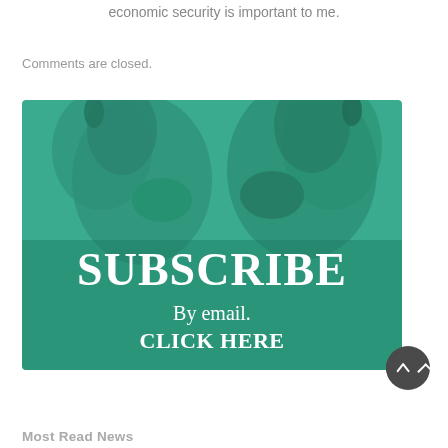economic security is important to me.
Comments are closed.
[Figure (illustration): Subscribe banner with two camels facing each other on a teal/green tinted background. Text overlay reads 'SUBSCRIBE' in large bold white letters, with 'By email. CLICK HERE' below in smaller white text.]
Most Read News